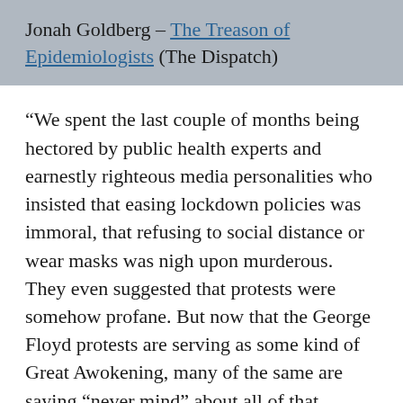Jonah Goldberg – The Treason of Epidemiologists (The Dispatch)
“We spent the last couple of months being hectored by public health experts and earnestly righteous media personalities who insisted that easing lockdown policies was immoral, that refusing to social distance or wear masks was nigh upon murderous. They even suggested that protests were somehow profane. But now that the George Floyd protests are serving as some kind of Great Awokening, many of the same are saying “never mind” about all of that. Protests aren’t profane, they’re glorious and essential—if they